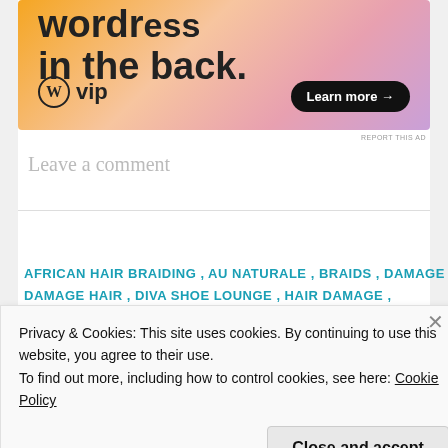[Figure (illustration): WordPress VIP advertisement banner with orange/pink/purple gradient background. Text reads 'WordPress in the back.' with WordPress W logo, 'vip' text, and 'Learn more →' button.]
REPORT THIS AD
Leave a comment
AFRICAN HAIR BRAIDING , AU NATURALE , BRAIDS , DAMAGE
DAMAGE HAIR , DIVA SHOE LOUNGE , HAIR DAMAGE ,
Privacy & Cookies: This site uses cookies. By continuing to use this website, you agree to their use.
To find out more, including how to control cookies, see here: Cookie Policy
Close and accept